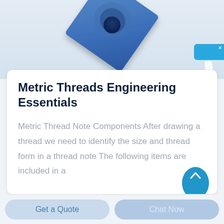[Figure (photo): Photo of a blue square metal washer/plate with a circular hole, photographed on a light grey background from a slightly elevated angle.]
Metric Threads Engineering Essentials
Metric Thread Note Components After drawing a thread we need to identify the size and thread form in a thread note The following items are included in a
[Figure (other): Chinese language online chat widget (在线咨询) — a blue vertical banner on the right edge with a close X button.]
Get a Quote
Chat Now